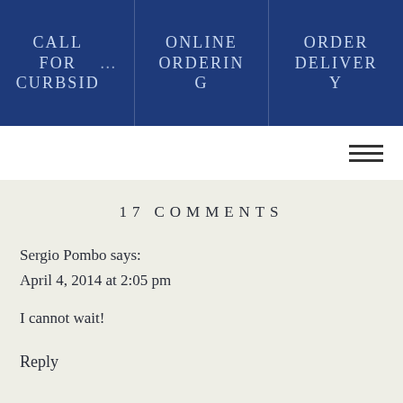CALL FOR CURBSIDE | ONLINE ORDERING | ORDER DELIVERY
[Figure (other): Hamburger menu icon (three horizontal lines)]
17 COMMENTS
Sergio Pombo says:
April 4, 2014 at 2:05 pm
I cannot wait!
Reply